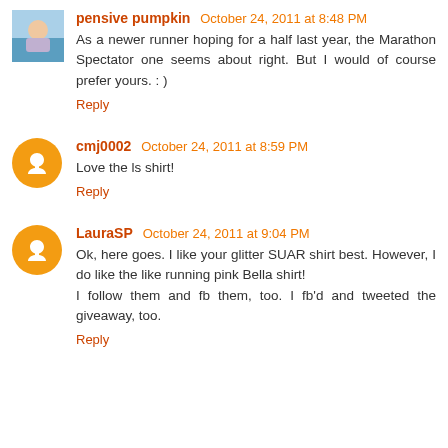pensive pumpkin October 24, 2011 at 8:48 PM
As a newer runner hoping for a half last year, the Marathon Spectator one seems about right. But I would of course prefer yours. : )
Reply
cmj0002 October 24, 2011 at 8:59 PM
Love the ls shirt!
Reply
LauraSP October 24, 2011 at 9:04 PM
Ok, here goes. I like your glitter SUAR shirt best. However, I do like the like running pink Bella shirt!
I follow them and fb them, too. I fb'd and tweeted the giveaway, too.
Reply